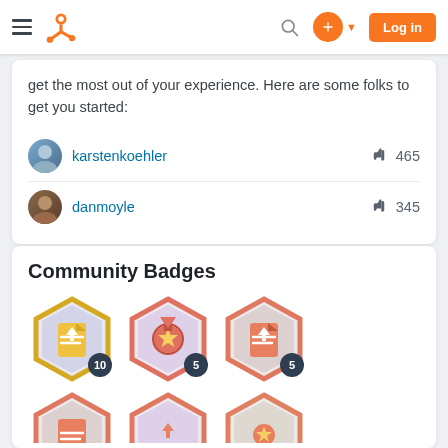HubSpot Community — Navigation bar with logo, search, and Log in button
get the most out of your experience. Here are some folks to get you started:
karstenkoehler  465
danmoyle  345
Community Badges
[Figure (illustration): Three hexagonal community badges with numbers 10, 5, and 5, and two partial badges visible at the bottom of the page.]